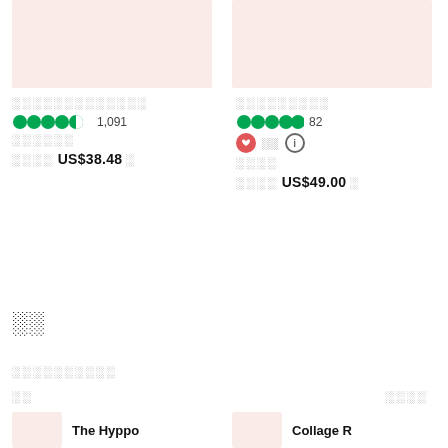[Figure (photo): Product image placeholder left - light pink/beige background]
░░░░░░░░░░░░░
●●●●◐ 1,091
░░░░░░
░░░░ US$38.48 ░
[Figure (photo): Product image placeholder right - light pink/beige background]
░░░░░░░░░
●●●●● 82
♥ ░░ ⓘ
░░░░
░░░░ US$49.00 ░
░░
░░░░░░░░░░
░░
░░░░
The Hyppo
Collage R